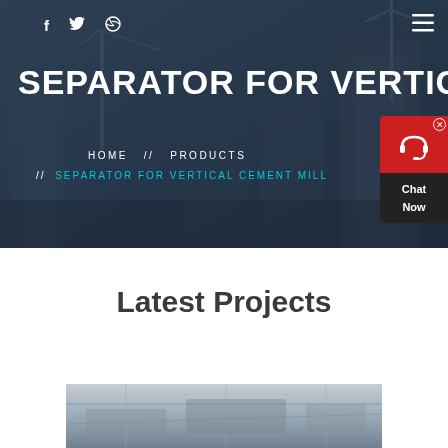[Figure (photo): Construction site background with cranes and buildings at dusk, dark blue overlay]
f  [twitter]  [dribbble]  ≡
SEPARATOR FOR VERTICAL CEM
HOME  //  PRODUCTS  //  SEPARATOR FOR VERTICAL CEMENT MILL
[Figure (other): Live chat widget with red background, headset icon, and Chat Now text]
Latest Projects
[Figure (photo): Construction/industrial project image showing structural elements]